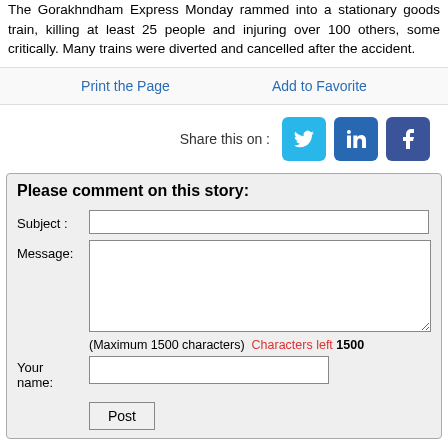The Gorakhndham Express Monday rammed into a stationary goods train, killing at least 25 people and injuring over 100 others, some critically. Many trains were diverted and cancelled after the accident.
Print the Page   Add to Favorite
Share this on :
[Figure (infographic): Three social media share buttons: Twitter (cyan), LinkedIn (blue), Facebook (dark blue)]
Please comment on this story:
Subject :
Message:
(Maximum 1500 characters) Characters left 1500
Your name:
Post